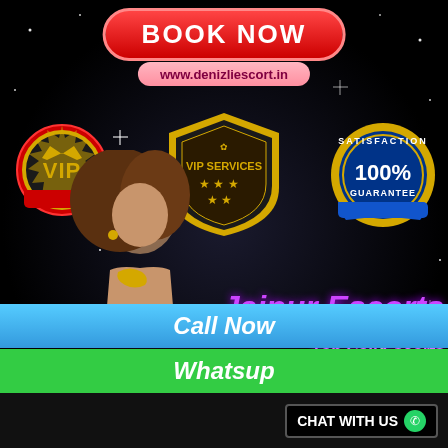[Figure (infographic): Advertisement banner for Jaipur Escorts service with dark starry background, VIP badges, and a female figure. Contains Book Now button at top, URL www.denizliescort.in, VIP badge, VIP Services shield badge, 100% Satisfaction Guarantee badge, large purple text 'Jaipur Escorts', subtext 'Top Call Escorts Girls by Denizli Escorts Agency @ Your Location', Call Now bar, Whatsup bar, and Chat With Us button at bottom.]
BOOK NOW
www.denizliescort.in
VIP
VIP SERVICES
SATISFACTION 100% GUARANTEE
Jaipur Escorts
Top Call Escorts Girls by Denizli Escorts Agency @ Your Location
Call Now
Whatsup
CHAT WITH US